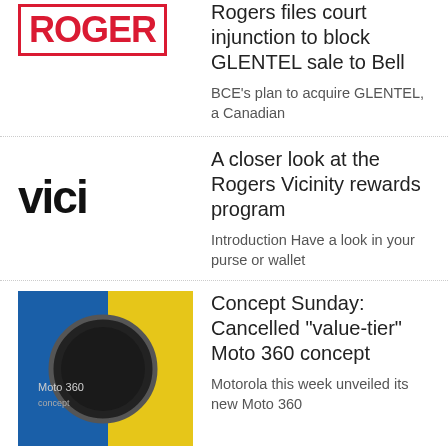[Figure (logo): Rogers logo partially visible, red text with border]
Rogers files court injunction to block GLENTEL sale to Bell
BCE’s plan to acquire GLENTEL, a Canadian
[Figure (logo): Vici logo in large serif font]
A closer look at the Rogers Vicinity rewards program
Introduction Have a look in your purse or wallet
[Figure (photo): Moto 360 smartwatch concept on blue and yellow background]
Concept Sunday: Cancelled “value-tier” Moto 360 concept
Motorola this week unveiled its new Moto 360
[Figure (photo): Tag Heuer Carrera watch skeleton dial on black background]
Tag Heuer Carrera Wearable 01 to be unveiled on November 9th
Tag Heuer announced at Baselworld 2015 that
[Figure (photo): Discommon Goods Watch Wallet partially visible]
Discommon Goods Watch Wallet for